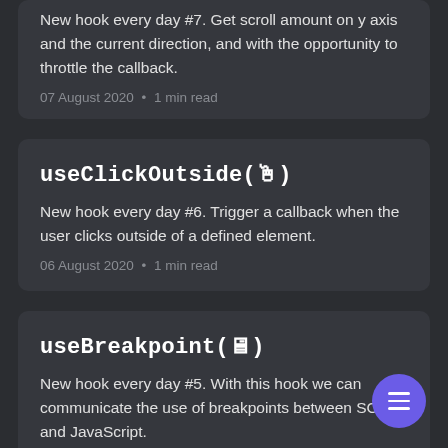New hook every day #7. Get scroll amount on y axis and the current direction, and with the opportunity to throttle the callback.
07 August 2020 • 1 min read
useClickOutside(🖱)
New hook every day #6. Trigger a callback when the user clicks outside of a defined element.
06 August 2020 • 1 min read
useBreakpoint(🖥)
New hook every day #5. With this hook we can communicate the use of breakpoints between SCSS and JavaScript.